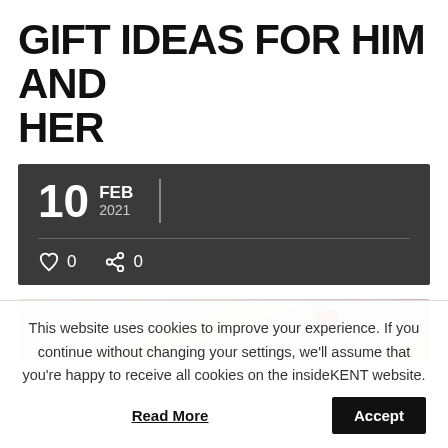GIFT IDEAS FOR HIM AND HER
10 FEB 2021
♡ 0   < 0
[Figure (photo): Partial photo strip showing soft blurred light background with a red heart shape visible on the right side]
This website uses cookies to improve your experience. If you continue without changing your settings, we'll assume that you're happy to receive all cookies on the insideKENT website.
Accept
Read More